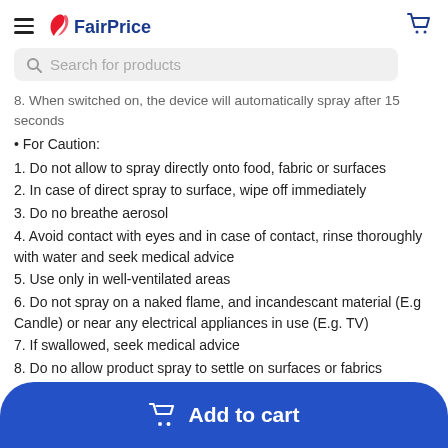FairPrice
[Figure (screenshot): Search bar with magnifying glass icon and placeholder text 'Search for products', with shopping cart icon to the right]
8. When switched on, the device will automatically spray after 15 seconds
• For Caution:
1. Do not allow to spray directly onto food, fabric or surfaces
2. In case of direct spray to surface, wipe off immediately
3. Do no breathe aerosol
4. Avoid contact with eyes and in case of contact, rinse thoroughly with water and seek medical advice
5. Use only in well-ventilated areas
6. Do not spray on a naked flame, and incandescant material (E.g Candle) or near any electrical appliances in use (E.g. TV)
7. If swallowed, seek medical advice
8. Do no allow product spray to settle on surfaces or fabrics
• Safety:
Pe... [partially obscured] ...n
u... [partially obscured]
9. D... [partially obscured]
container